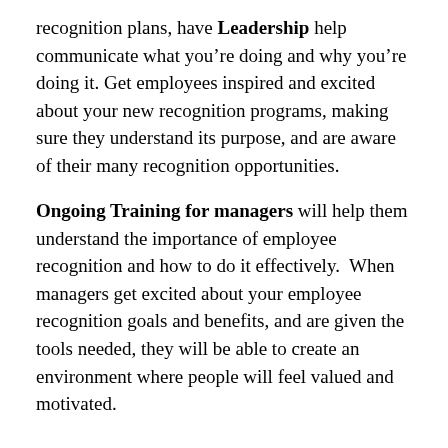recognition plans, have Leadership help communicate what you're doing and why you're doing it. Get employees inspired and excited about your new recognition programs, making sure they understand its purpose, and are aware of their many recognition opportunities.
Ongoing Training for managers will help them understand the importance of employee recognition and how to do it effectively.  When managers get excited about your employee recognition goals and benefits, and are given the tools needed, they will be able to create an environment where people will feel valued and motivated.